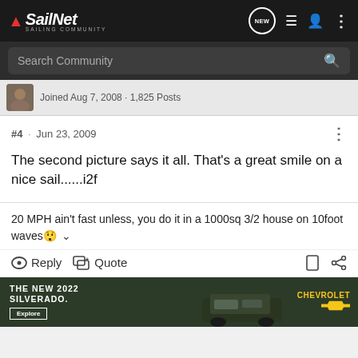SailNet SAILING COMMUNITY
Search Community
Joined Aug 7, 2008 · 1,825 Posts
#4 · Jun 23, 2009
The second picture says it all. That's a great smile on a nice sail......i2f
20 MPH ain't fast unless, you do it in a 1000sq 3/2 house on 10foot waves😱
Reply   Quote
[Figure (photo): Chevrolet Silverado 2022 advertisement banner at bottom of page]